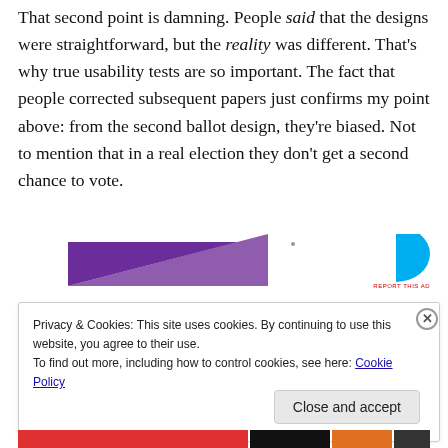That second point is damning. People said that the designs were straightforward, but the reality was different. That's why true usability tests are so important. The fact that people corrected subsequent papers just confirms my point above: from the second ballot design, they're biased. Not to mention that in a real election they don't get a second chance to vote.
[Figure (other): Advertisement banner with purple triangle shape on left and cyan/blue partial shape on right, with 'REPORT THIS AD' label in small red text.]
Privacy & Cookies: This site uses cookies. By continuing to use this website, you agree to their use.
To find out more, including how to control cookies, see here: Cookie Policy
Close and accept